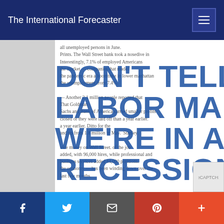The International Forecaster
DON'T TELL THE LABOR MARKET WE'RE IN A RECESSION
Guest Writer, August 6 2022
Courtenay Brown and Neil Irwin have been spot-on with their analysis of the economy recently.
Yesterday, they wrote that the "strong labor market continues to be the economy's bright spot."
They say it could stay robust even as the Fed sends the economy into a slowdown if, that is, "businesses hoard workers to avoid repeating past mistakes."
Employers, particularly in industries that have...
Facebook Twitter Email Pinterest More